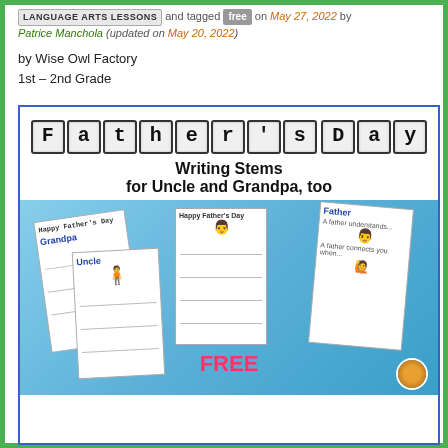LANGUAGE ARTS LESSONS and tagged free on May 27, 2022 by Patrice Manchola (updated on May 20, 2022)
by Wise Owl Factory
1st – 2nd Grade
[Figure (illustration): Father's Day Writing Stems for Uncle and Grandpa, too — educational worksheet product cover image showing decorative block letter title and sample worksheet pages on blue background with FREE label]